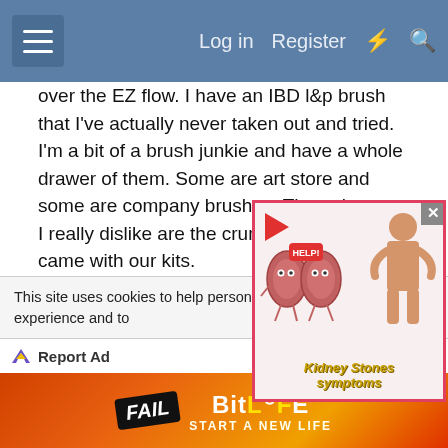Log in  Register
over the EZ flow. I have an IBD l&p brush that I've actually never taken out and tried. I'm a bit of a brush junkie and have a whole drawer of them. Some are art store and some are company brushes. The only ones I really dislike are the crummy ones that came with our kits.
S
[Figure (screenshot): Popup advertisement for Kidney Stones symptoms showing cartoon kidney characters with HELP! sign and person holding their back, with red play button triangle in corner]
This site uses cookies to help personalise content, tailor your experience and to
[Figure (screenshot): Bottom banner advertisement for BitLife game showing FAIL text, cartoon character, flames, and 'START A NEW LIFE' text with Report Ad bar above it]